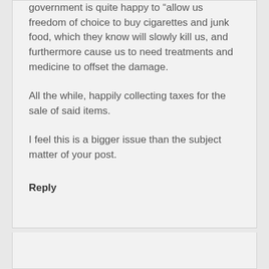government is quite happy to “allow us freedom of choice to buy cigarettes and junk food, which they know will slowly kill us, and furthermore cause us to need treatments and medicine to offset the damage.
All the while, happily collecting taxes for the sale of said items.
I feel this is a bigger issue than the subject matter of your post.
Reply